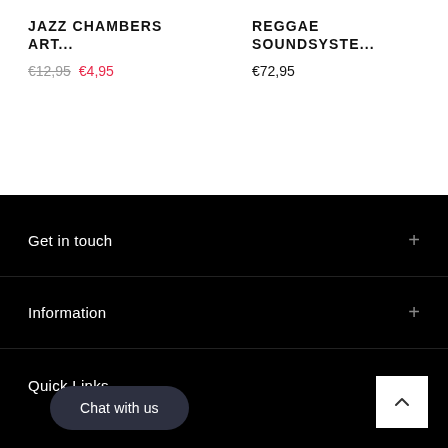JAZZ CHAMBERS ART...
€12,95  €4,95
REGGAE SOUNDSYSTE...
€72,95
Get in touch
Information
Quick Links
Chat with us